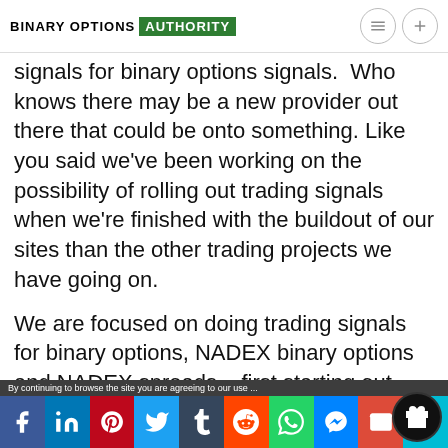BINARY OPTIONS AUTHORITY
signals for binary options signals.  Who knows there may be a new provider out there that could be onto something. Like you said we've been working on the possibility of rolling out trading signals when we're finished with the buildout of our sites than the other trading projects we have going on.
We are focused on doing trading signals for binary options, NADEX binary options and NADEX spreads – first starting out with the weekly and daily expirations.